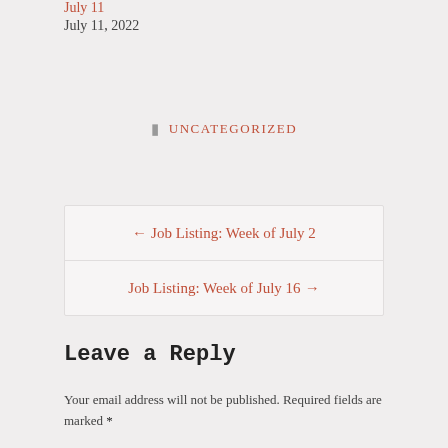July 11
July 11, 2022
UNCATEGORIZED
← Job Listing: Week of July 2
Job Listing: Week of July 16 →
Leave a Reply
Your email address will not be published. Required fields are marked *